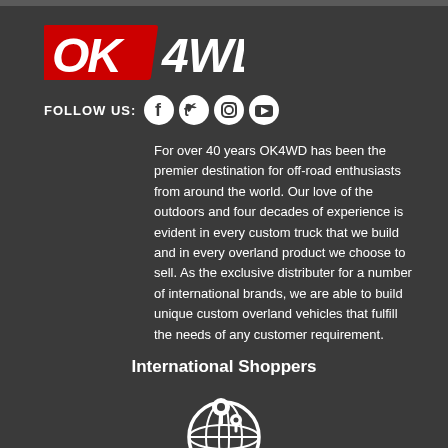[Figure (logo): OK4WD logo in red and white italic bold font]
FOLLOW US:
[Figure (illustration): Social media icons: Facebook, Twitter, Instagram, YouTube - white icons on dark circular backgrounds]
For over 40 years OK4WD has been the premier destination for off-road enthusiasts from around the world. Our love of the outdoors and four decades of experience is evident in every custom truck that we build and in every overland product we choose to sell. As the exclusive distributer for a number of international brands, we are able to build unique custom overland vehicles that fulfill the needs of any customer requirement.
International Shoppers
[Figure (illustration): Globe with map pin/location markers icon in white]
Shipping Policy